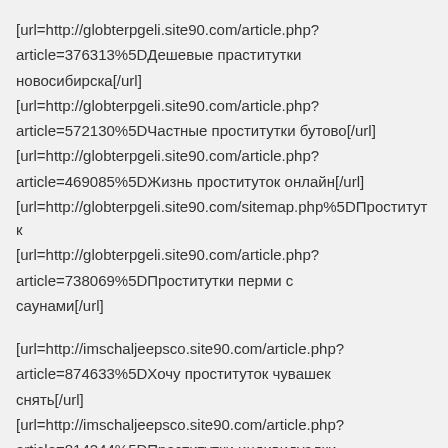[url=http://globterpgeli.site90.com/article.php?article=376313%5DДешевые праститутки новосибирска[/url]
[url=http://globterpgeli.site90.com/article.php?article=572130%5DЧастные проститутки бутово[/url]
[url=http://globterpgeli.site90.com/article.php?article=469085%5DЖизнь проституток онлайн[/url]
[url=http://globterpgeli.site90.com/sitemap.php%5DПроститутк
[url=http://globterpgeli.site90.com/article.php?article=738069%5DПроститутки перми с саунами[/url]
[url=http://imschaljeepsco.site90.com/article.php?article=874633%5DХочу проституток чувашек снять[/url]
[url=http://imschaljeepsco.site90.com/article.php?article=814244%5DПроститутки индивидуалки метро марьино[/url]
[url=http://imschaljeepsco.site90.com/article.php?